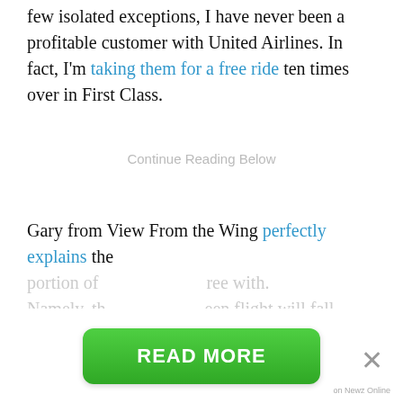few isolated exceptions, I have never been a profitable customer with United Airlines. In fact, I'm taking them for a free ride ten times over in First Class.
Continue Reading Below
Gary from View From the Wing perfectly explains the portion of ... agree with. Namely, th... been flight will fall.
READ MORE